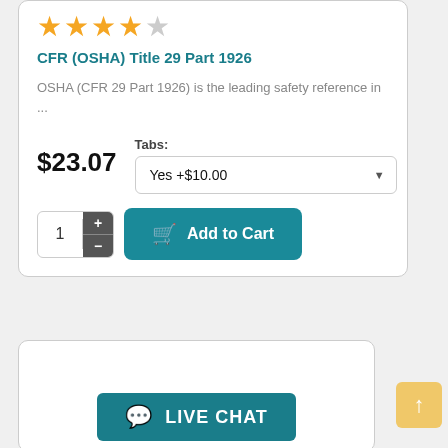[Figure (other): 4.5 star rating (4 filled stars, 1 empty star)]
CFR (OSHA) Title 29 Part 1926
OSHA (CFR 29 Part 1926) is the leading safety reference in ...
$23.07
Tabs: Yes +$10.00
1  +  -  Add to Cart
[Figure (other): LIVE CHAT button with chat bubble icon]